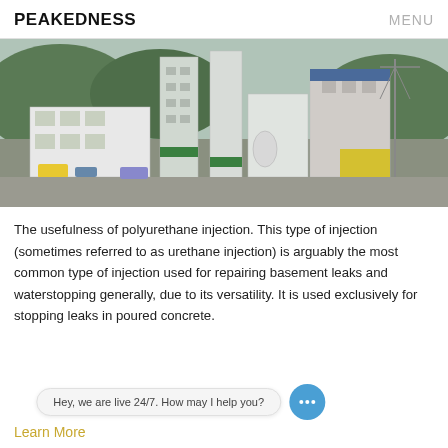PEAKEDNESS    MENU
[Figure (photo): Aerial view of a large cement/concrete batching plant with silos, towers, and industrial buildings surrounded by trees and a hilly landscape.]
The usefulness of polyurethane injection. This type of injection (sometimes referred to as urethane injection) is arguably the most common type of injection used for repairing basement leaks and waterstopping generally, due to its versatility. It is used exclusively for stopping leaks in poured concrete.
Hey, we are live 24/7. How may I help you?
Learn More